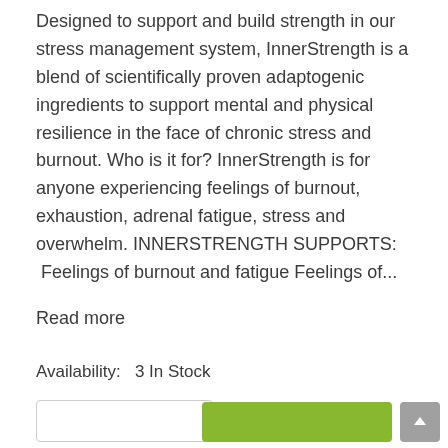Designed to support and build strength in our stress management system, InnerStrength is a blend of scientifically proven adaptogenic ingredients to support mental and physical resilience in the face of chronic stress and burnout. Who is it for? InnerStrength is for anyone experiencing feelings of burnout, exhaustion, adrenal fatigue, stress and overwhelm. INNERSTRENGTH SUPPORTS: Feelings of burnout and fatigue Feelings of...
Read more
Availability:  3 In Stock
$69.00
zip Four payments of $17.25